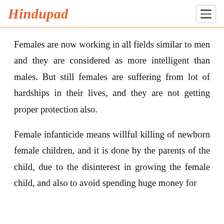Hindupad
Females are now working in all fields similar to men and they are considered as more intelligent than males. But still females are suffering from lot of hardships in their lives, and they are not getting proper protection also.
Female infanticide means willful killing of newborn female children, and it is done by the parents of the child, due to the disinterest in growing the female child, and also to avoid spending huge money for